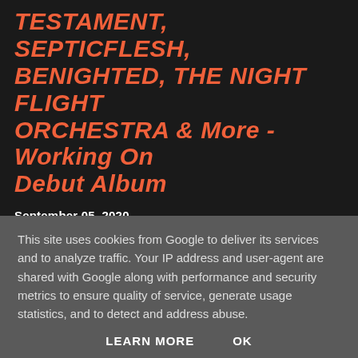TESTAMENT, SEPTICFLESH, BENIGHTED, THE NIGHT FLIGHT ORCHESTRA & More - Working On Debut Album
September 05, 2020
New All-Stars melodic death metal band/project ACT OF DENIAL was formed in 2020 and composed of lead guitarist and songwriter Voi Cox (Koziak, Victim), guitarist and lyricist Luger (Benighted, Koziak), vocalist Bjorn Speed ...
This site uses cookies from Google to deliver its services and to analyze traffic. Your IP address and user-agent are shared with Google along with performance and security metrics to ensure quality of service, generate usage statistics, and to detect and address abuse.
LEARN MORE   OK